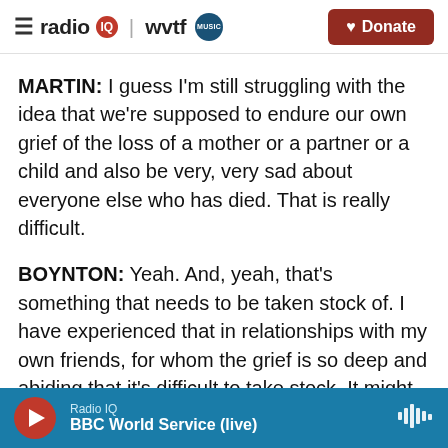radio IQ | wvtf MUSIC  Donate
MARTIN: I guess I'm still struggling with the idea that we're supposed to endure our own grief of the loss of a mother or a partner or a child and also be very, very sad about everyone else who has died. That is really difficult.
BOYNTON: Yeah. And, yeah, that's something that needs to be taken stock of. I have experienced that in relationships with my own friends, for whom the grief is so deep and abiding that it's difficult to take stock. It might even be difficult to have a conversation we're having right now given the kind
Radio IQ  BBC World Service (live)